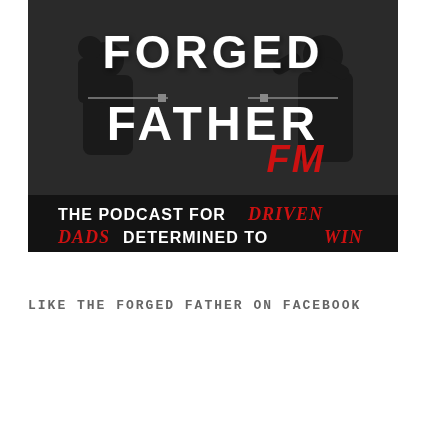[Figure (logo): Forged Father FM podcast cover image. Black and white photo of a muscular man holding a small child, overlaid with bold distressed white text reading 'FORGED FATHER FM' and red italic text 'FM'. Subtitle text reads 'THE PODCAST FOR DRIVEN DADS DETERMINED TO WIN' in white and red italic handwritten style on a dark background.]
LIKE THE FORGED FATHER ON FACEBOOK